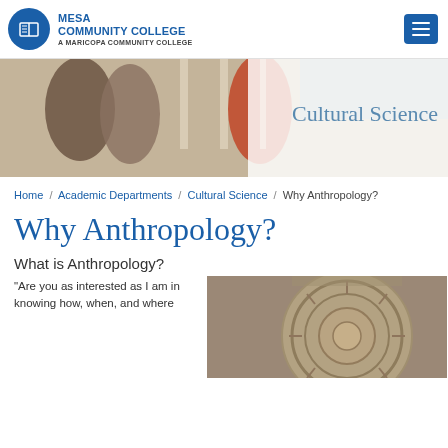Mesa Community College — A Maricopa Community College
[Figure (photo): Banner photo of students talking outdoors with 'Cultural Science' text overlay]
Home / Academic Departments / Cultural Science / Why Anthropology?
Why Anthropology?
What is Anthropology?
"Are you as interested as I am in knowing how, when, and where
[Figure (photo): Photograph of an ancient carved stone artifact (Aztec calendar stone / Sun Stone)]